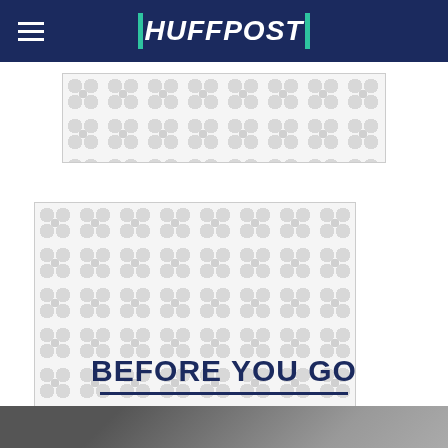HUFFPOST
[Figure (other): Advertisement placeholder with repeating circular pattern in grey tones]
[Figure (other): Advertisement placeholder with repeating circular pattern in grey tones]
BEFORE YOU GO
[Figure (photo): Partial photo visible at bottom of page, appears to show a vehicle interior or dashboard]